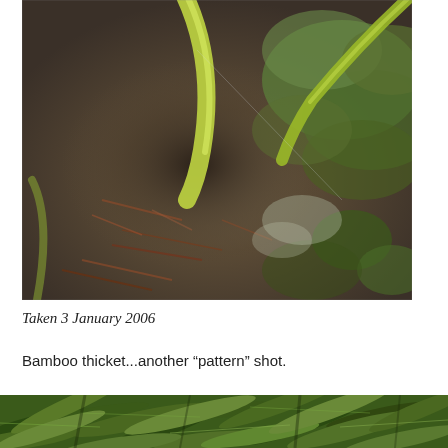[Figure (photo): Close-up photo of bamboo leaves and ground cover with mulch and small green plants, taken from above looking down at soil level with bamboo stalks visible.]
Taken 3 January 2006
Bamboo thicket...another “pattern” shot.
[Figure (photo): Close-up photo of dense bamboo foliage showing overlapping green bamboo leaves forming a pattern.]